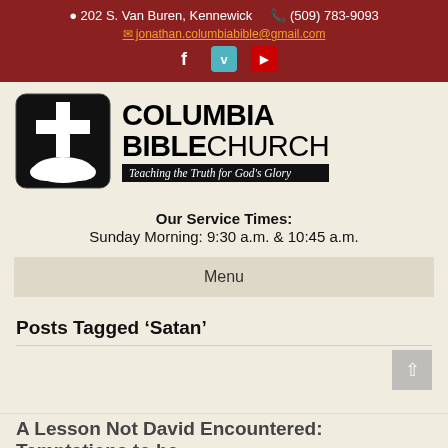202 S. Van Buren, Kennewick  (509) 783-9093  jonathan.columbiabible@gmail.com
[Figure (logo): Columbia Bible Church logo: black rounded-square with white cross and open Bible (white hills), beside text COLUMBIA BIBLE CHURCH with tagline Teaching the Truth for God's Glory on black bar]
Our Service Times:
Sunday Morning: 9:30 a.m. & 10:45 a.m.
Menu
Posts Tagged ‘Satan’